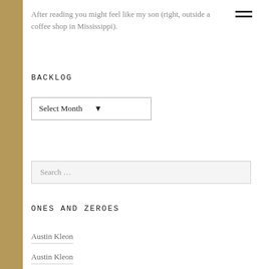After reading you might feel like my son (right, outside a coffee shop in Mississippi).
BACKLOG
Select Month
Search ...
ONES AND ZEROES
Austin Kleon
Austin Kleon